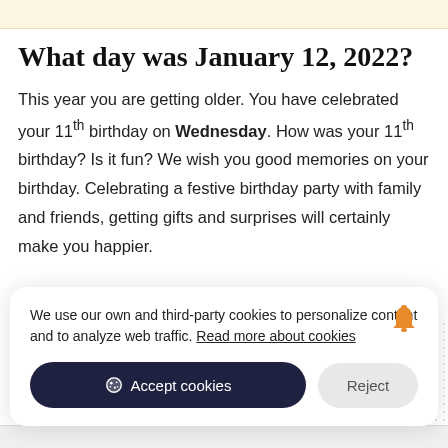What day was January 12, 2022?
This year you are getting older. You have celebrated your 11th birthday on Wednesday. How was your 11th birthday? Is it fun? We wish you good memories on your birthday. Celebrating a festive birthday party with family and friends, getting gifts and surprises will certainly make you happier.
We use our own and third-party cookies to personalize content and to analyze web traffic. Read more about cookies